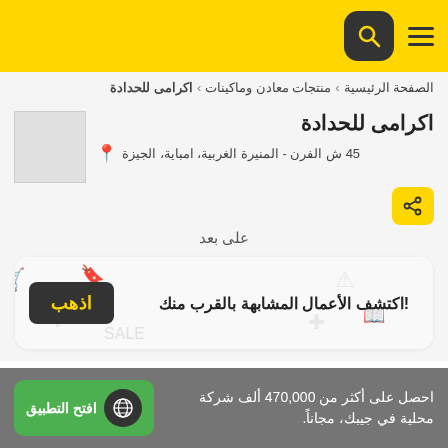اكرامى للحدادة - navigation header with search
الصفحة الرئيسية › منتجات معادن وماكينات › اكرامى للحدادة
اكرامى للحدادة
45 ش الفرن - المنيرة الغربية، امباية، الجيزة
على بعد
[Figure (screenshot): Map discovery card with icon pattern background showing text 'اكتشف الأعمال المشابهة بالقرب منك!' and a dark button labeled 'اذهب']
احصل على أكثر من 470,000 ألف شركة محلية في جيبك، مجاناً.
افتح التطبيق